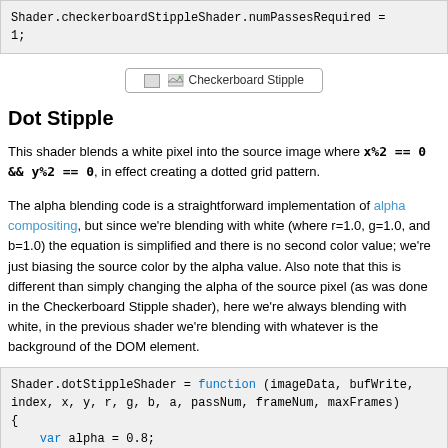[Figure (screenshot): Code block showing: Shader.checkerboardStippleShader.numPassesRequired = 1;]
[Figure (illustration): Checkerboard Stipple image placeholder with broken image icon]
Dot Stipple
This shader blends a white pixel into the source image where x%2 == 0 && y%2 == 0, in effect creating a dotted grid pattern.
The alpha blending code is a straightforward implementation of alpha compositing, but since we're blending with white (where r=1.0, g=1.0, and b=1.0) the equation is simplified and there is no second color value; we're just biasing the source color by the alpha value. Also note that this is different than simply changing the alpha of the source pixel (as was done in the Checkerboard Stipple shader), here we're always blending with white, in the previous shader we're blending with whatever is the background of the DOM element.
[Figure (screenshot): Code block showing: Shader.dotStippleShader = function (imageData, bufWrite, index, x, y, r, g, b, a, passNum, frameNum, maxFrames) { var alpha = 0.8;]